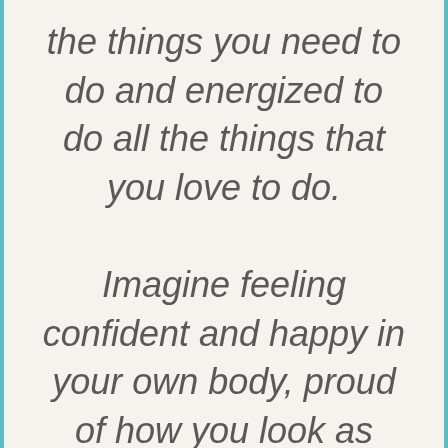the things you need to do and energized to do all the things that you love to do.

Imagine feeling confident and happy in your own body, proud of how you look as you get older and